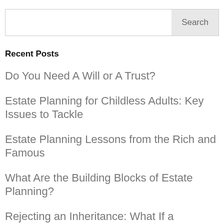Recent Posts
Do You Need A Will or A Trust?
Estate Planning for Childless Adults: Key Issues to Tackle
Estate Planning Lessons from the Rich and Famous
What Are the Building Blocks of Estate Planning?
Rejecting an Inheritance: What If a Beneficiary Doesn't Want an Estate?